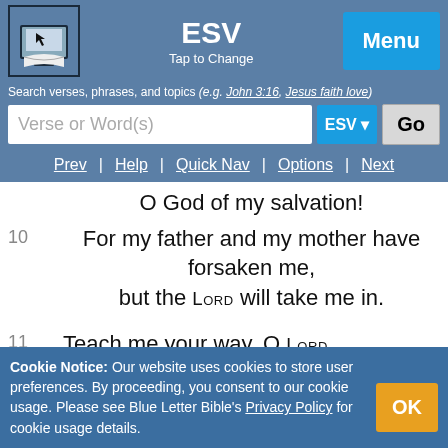ESV — Tap to Change — Menu
Search verses, phrases, and topics (e.g. John 3:16, Jesus faith love)
Verse or Word(s) [input] ESV Go
Prev | Help | Quick Nav | Options | Next
O God of my salvation!
10 For my father and my mother have forsaken me,
but the LORD will take me in.
11 Teach me your way, O LORD,
and lead me on a level path
because of my enemies.
12 Give me not up to the will of my adversaries;
Cookie Notice: Our website uses cookies to store user preferences. By proceeding, you consent to our cookie usage. Please see Blue Letter Bible's Privacy Policy for cookie usage details.